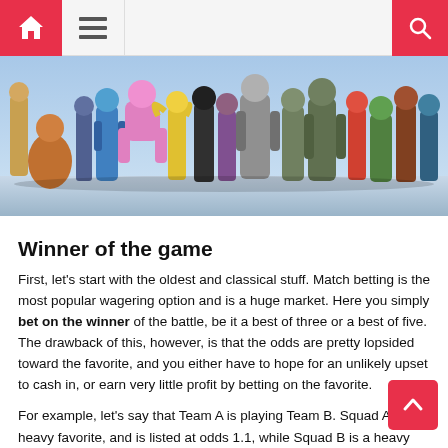Navigation bar with home, menu, and search icons
[Figure (photo): Hero banner image showing Overwatch game characters lined up — a colorful group of heroes and robots against a blue background]
Winner of the game
First, let's start with the oldest and classical stuff. Match betting is the most popular wagering option and is a huge market. Here you simply bet on the winner of the battle, be it a best of three or a best of five. The drawback of this, however, is that the odds are pretty lopsided toward the favorite, and you either have to hope for an unlikely upset to cash in, or earn very little profit by betting on the favorite.
For example, let's say that Team A is playing Team B. Squad A is a heavy favorite, and is listed at odds 1.1, while Squad B is a heavy underdog and is listed at 8. Here you need to decide, whether to risk and win